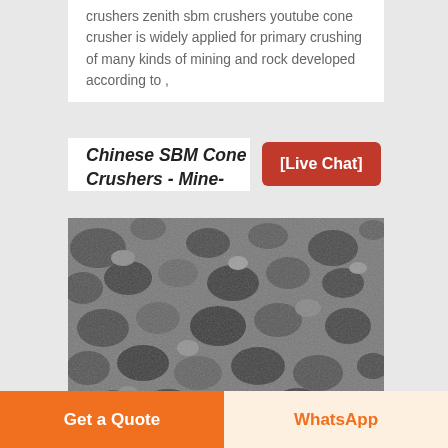crushers zenith sbm crushers youtube cone crusher is widely applied for primary crushing of many kinds of mining and rock developed according to ,
Chinese SBM Cone Crushers - Mine-
[Live Chat]
[Figure (photo): Photo of crushed stone/gravel aggregate, gray rock pieces of various sizes, with green italic watermark text 'mining machine' in the lower right corner.]
Get a Quote
WhatsApp